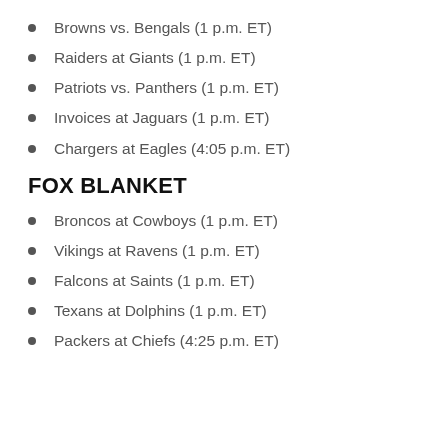Browns vs. Bengals (1 p.m. ET)
Raiders at Giants (1 p.m. ET)
Patriots vs. Panthers (1 p.m. ET)
Invoices at Jaguars (1 p.m. ET)
Chargers at Eagles (4:05 p.m. ET)
FOX BLANKET
Broncos at Cowboys (1 p.m. ET)
Vikings at Ravens (1 p.m. ET)
Falcons at Saints (1 p.m. ET)
Texans at Dolphins (1 p.m. ET)
Packers at Chiefs (4:25 p.m. ET)